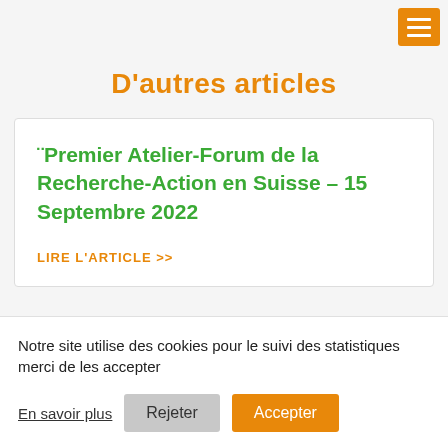D'autres articles
¨Premier Atelier-Forum de la Recherche-Action en Suisse – 15 Septembre 2022
LIRE L'ARTICLE >>
Notre site utilise des cookies pour le suivi des statistiques merci de les accepter
En savoir plus   Rejeter   Accepter